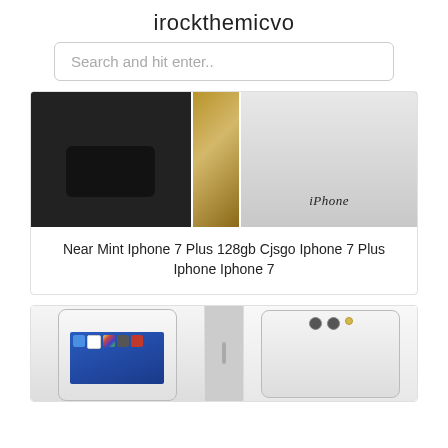irockthemicvo
Search and hit enter..
[Figure (photo): Two iPhone 7 Plus phones side by side — left shows black front screen, center is a wood/stone background strip, right shows silver back with iPhone label]
Near Mint Iphone 7 Plus 128gb Cjsgo Iphone 7 Plus Iphone Iphone 7
[Figure (photo): Two iPhone 7 Plus phones — left shows front with home screen apps, center shows side profile, right shows silver back with dual camera]